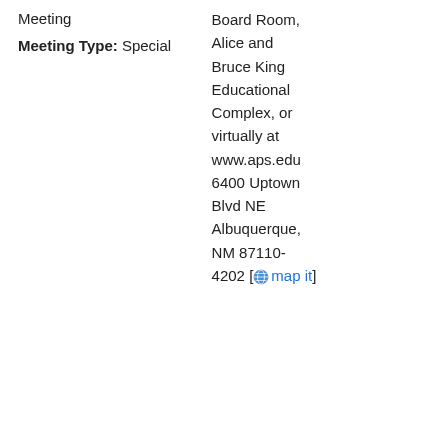Meeting
Meeting Type: Special
Board Room, Alice and Bruce King Educational Complex, or virtually at www.aps.edu 6400 Uptown Blvd NE Albuquerque, NM 87110-4202 [map it]
May 18, 2022 at 5:00 PM - Board of Education Meeting
Meeting Type: Regular
John Milne Community Board Room, Alice and Bruce King Educational
Age